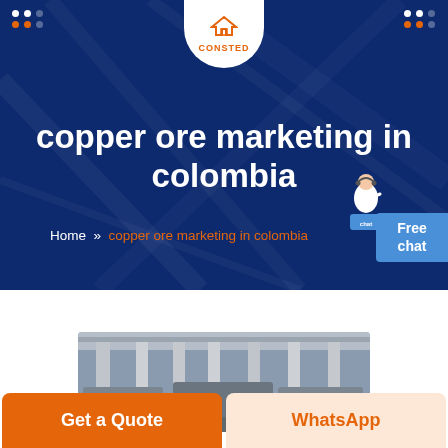[Figure (logo): CONSTED logo: house/building icon in orange with text CONSTED below, in a white rounded drop-down panel at top center]
copper ore marketing in colombia
Home » copper ore marketing in colombia
[Figure (illustration): Customer service agent illustration with headset, standing at a blue podium labeled 'Free chat']
[Figure (photo): Factory interior photo showing industrial machinery and equipment in a large warehouse]
Get a Quote
WhatsApp